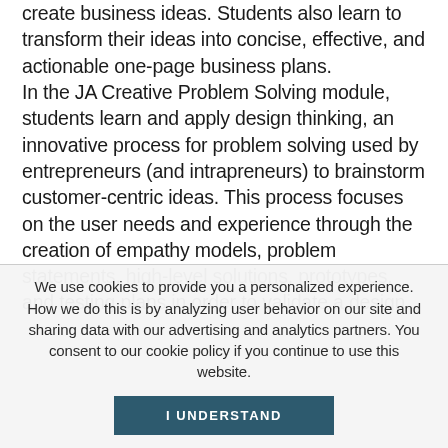create business ideas. Students also learn to transform their ideas into concise, effective, and actionable one-page business plans. In the JA Creative Problem Solving module, students learn and apply design thinking, an innovative process for problem solving used by entrepreneurs (and intrapreneurs) to brainstorm customer-centric ideas. This process focuses on the user needs and experience through the creation of empathy models, problem statements, high-level solutions, prototypes, and testing plans in order to validate a design.
We use cookies to provide you a personalized experience. How we do this is by analyzing user behavior on our site and sharing data with our advertising and analytics partners. You consent to our cookie policy if you continue to use this website.
I UNDERSTAND